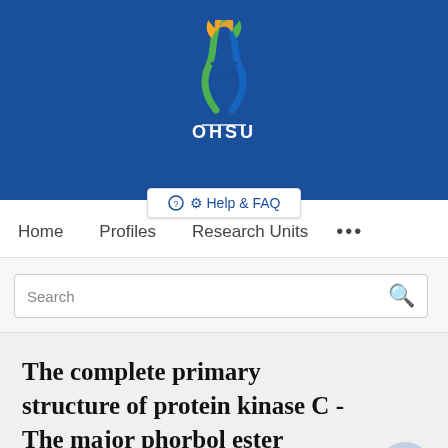[Figure (logo): OHSU (Oregon Health & Science University) logo with DNA helix and flame graphic on blue background, with white OHSU text]
Help & FAQ
Home   Profiles   Research Units   ...
Search
The complete primary structure of protein kinase C - The major phorbol ester receptor